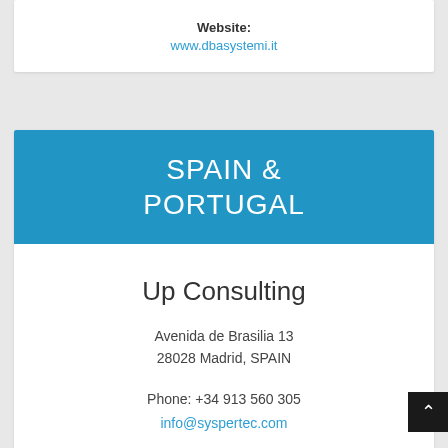Website: www.dbasystemi.it
SPAIN & PORTUGAL
Up Consulting
Avenida de Brasilia 13
28028 Madrid, SPAIN
Phone: +34 913 560 305
info@syspertec.com